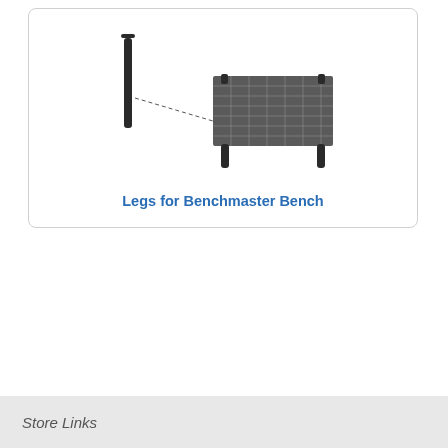[Figure (illustration): Product illustration showing a single black cylindrical bench leg on the left with a dashed line pointing to a Benchmaster bench (a dark grid-top table with four black legs) on the right.]
Legs for Benchmaster Bench
Store Links